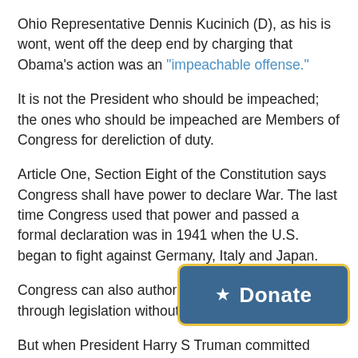Ohio Representative Dennis Kucinich (D), as his is wont, went off the deep end by charging that Obama's action was an "impeachable offense."
It is not the President who should be impeached; the ones who should be impeached are Members of Congress for dereliction of duty.
Article One, Section Eight of the Constitution says Congress shall have power to declare War. The last time Congress used that power and passed a formal declaration was in 1941 when the U.S. began to fight against Germany, Italy and Japan.
Congress can also authorize the use through legislation without a formal
[Figure (other): Donate button overlay with star icon, dark blue background, yellow border]
But when President Harry S Truman committed U.S. troops in 1950 to turn back a North Korean